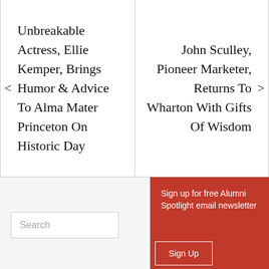Unbreakable Actress, Ellie Kemper, Brings Humor & Advice To Alma Mater Princeton On Historic Day
John Sculley, Pioneer Marketer, Returns To Wharton With Gifts Of Wisdom
Sign up for free Alumni Spotlight email newsletter
Sign Up
Search
Search
CATEGORIES